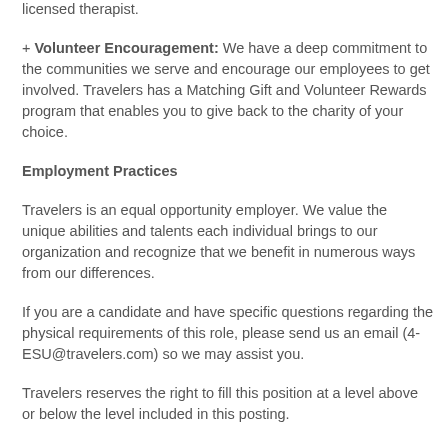Balance, you're eligible for five free counseling sessions with a licensed therapist.
+ **Volunteer Encouragement:** We have a deep commitment to the communities we serve and encourage our employees to get involved. Travelers has a Matching Gift and Volunteer Rewards program that enables you to give back to the charity of your choice.
**Employment Practices**
Travelers is an equal opportunity employer. We value the unique abilities and talents each individual brings to our organization and recognize that we benefit in numerous ways from our differences.
If you are a candidate and have specific questions regarding the physical requirements of this role, please send us an email (4-ESU@travelers.com) so we may assist you.
Travelers reserves the right to fill this position at a level above or below the level included in this posting.